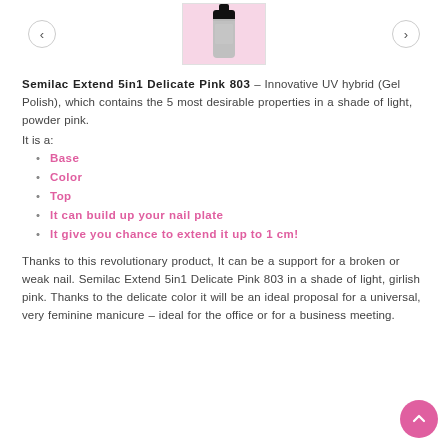[Figure (photo): Product image of Semilac Extend 5in1 Delicate Pink 803 nail polish bottle on pink background, with left and right navigation arrows]
Semilac Extend 5in1 Delicate Pink 803 – Innovative UV hybrid (Gel Polish), which contains the 5 most desirable properties in a shade of light, powder pink.
It is a:
Base
Color
Top
It can build up your nail plate
It give you chance to extend it up to 1 cm!
Thanks to this revolutionary product, It can be a support for a broken or weak nail. Semilac Extend 5in1 Delicate Pink 803 in a shade of light, girlish pink. Thanks to the delicate color it will be an ideal proposal for a universal, very feminine manicure – ideal for the office or for a business meeting.